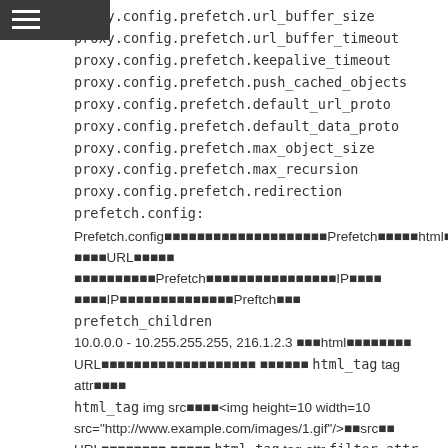proxy.config.prefetch.url_buffer_size
proxy.config.prefetch.url_buffer_timeout
proxy.config.prefetch.keepalive_timeout
proxy.config.prefetch.push_cached_objects
proxy.config.prefetch.default_url_proto
proxy.config.prefetch.default_data_proto
proxy.config.prefetch.max_object_size
proxy.config.prefetch.max_recursion
proxy.config.prefetch.redirection prefetch.config:
Prefetch.config■■■■■■■■■■■■■■■■■■■■Prefetch■■■■■html■■■■■■URL■■■■■ ■■■■■■■■■■Prefetch■■■■■■■■■■■■■■■■IP■■■■■■IP■■■■■■■■■■■■■■Preftch■■■ prefetch_children 10.0.0.0 - 10.255.255.255, 216.1.2.3 ■■■html■■■■■■■■URL■■■■■■■■■■■■■■■■■■■ ■■■■■■ html_tag tag attr■■■■ html_tag img src■■■■<img height=10 width=10 src="http://www.example.com/images/1.gif"/>■■src■■URL■■■■■■■■ ■■■■■ html_tag tag attr filter_attr